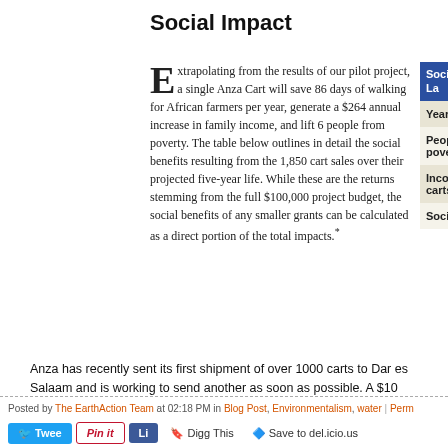Social Impact
Extrapolating from the results of our pilot project, a single Anza Cart will save 86 days of walking for African farmers per year, generate a $264 annual increase in family income, and lift 6 people from poverty. The table below outlines in detail the social benefits resulting from the 1,850 cart sales over their projected five-year life. While these are the returns stemming from the full $100,000 project budget, the social benefits of any smaller grants can be calculated as a direct portion of the total impacts.*
| Social Impact of Anza Cart La... |  |
| --- | --- |
| Years of walking saved |  |
| People lifted out of poverty |  |
| Income generated by carts | $2... |
| Social return on grants |  |
Anza has recently sent its first shipment of over 1000 carts to Dar es Salaam and is working to send another as soon as possible. A $10 donation fully subsidizes one cart and helps a family of five lift themselves out of poverty.
You can be a part of this initiative by donating an amount that you are comfortable with at www.anzacart.org!
Posted by The EarthAction Team at 02:18 PM in Blog Post, Environmentalism, water | Perm...
Tweet | Pin it | Li... | Digg This | Save to del.icio.us